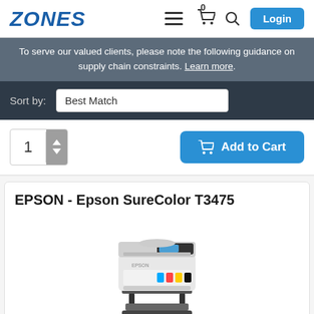ZONES
To serve our valued clients, please note the following guidance on supply chain constraints. Learn more.
Sort by: Best Match
1  Add to Cart
EPSON - Epson SureColor T3475
[Figure (photo): Photo of an Epson SureColor T3475 large format printer on a stand, white body with black accents and colorful ink cartridges visible]